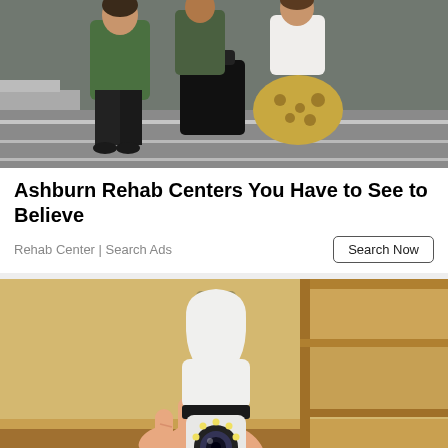[Figure (photo): Photo of people on a street/intersection, women in casual clothing, one wearing a green jacket and black pants, another in a leopard print skirt, with bags]
Ashburn Rehab Centers You Have to See to Believe
Rehab Center | Search Ads
Search Now
[Figure (photo): Hand holding a white light bulb security camera with LED ring, in an indoor setting with wooden shelves in the background]